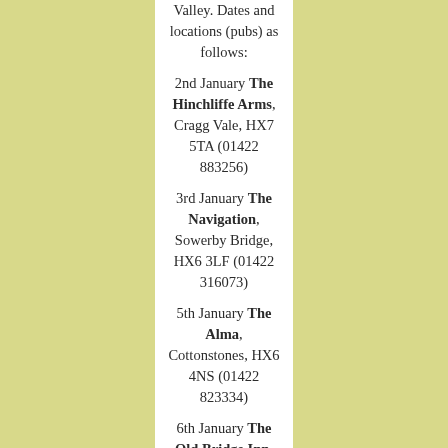Valley. Dates and locations (pubs) as follows:
2nd January The Hinchliffe Arms, Cragg Vale, HX7 5TA (01422 883256)
3rd January The Navigation, Sowerby Bridge, HX6 3LF (01422 316073)
5th January The Alma, Cottonstones, HX6 4NS (01422 823334)
6th January The Old Bridge Inn, Ripponden, HX6 4DF (01422 822595)
The performances start at 8pm prompt and we always begin with the singing of our Wassail Song inside the pub before the massed band then lead the audience outside